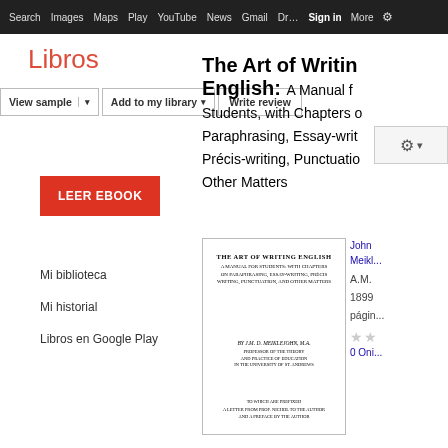Search  Images  Maps  Play  YouTube  News  Gmail  Drive  More  Sign in  Settings
Libros
View sample | Add to my library | Write review
[Figure (screenshot): LEER EBOOK button in red]
Mi biblioteca
Mi historial
Libros en Google Play
The Art of Writing English: A Manual for Students, with Chapters on Paraphrasing, Essay-writing, Précis-writing, Punctuation, and Other Matters
[Figure (photo): Book cover of 'The Art of Writing English' by J.M.D. Meiklejohn]
John Meikle...
A.M.
1899
págin...
0 Opi...